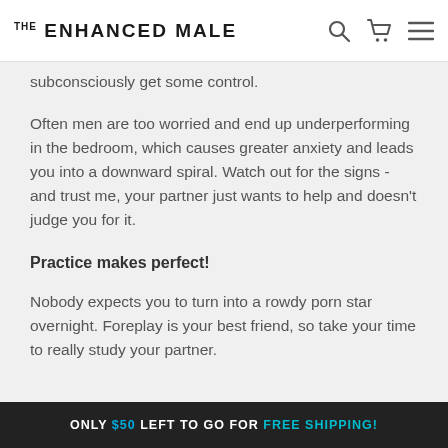THE ENHANCED MALE
subconsciously get some control.
Often men are too worried and end up underperforming in the bedroom, which causes greater anxiety and leads you into a downward spiral. Watch out for the signs - and trust me, your partner just wants to help and doesn't judge you for it.
Practice makes perfect!
Nobody expects you to turn into a rowdy porn star overnight. Foreplay is your best friend, so take your time to really study your partner.
ONLY $50 LEFT TO GO FOR FREE SHIPPING!